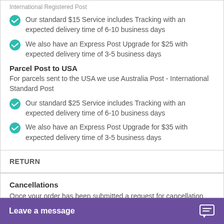International Registered Post
Our standard $15 Service includes Tracking with an expected delivery time of 6-10 business days
We also have an Express Post Upgrade for $25 with expected delivery time of 3-5 business days
Parcel Post to USA
For parcels sent to the USA we use Australia Post - International Standard Post
Our standard $25 Service includes Tracking with an expected delivery time of 6-10 business days
We also have an Express Post Upgrade for $35 with expected delivery time of 3-5 business days
RETURN
Cancellations
Once your order has been submitted a request for cancellation will only be accepted if you order has not entered the production
Leave a message